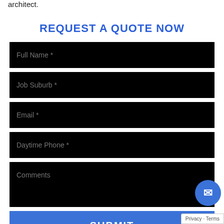architect.
REQUEST A QUOTE NOW
Full Name *
Job Suburb *
Email *
Daytime Phone *
Comments
SUBMIT
Privacy · Terms